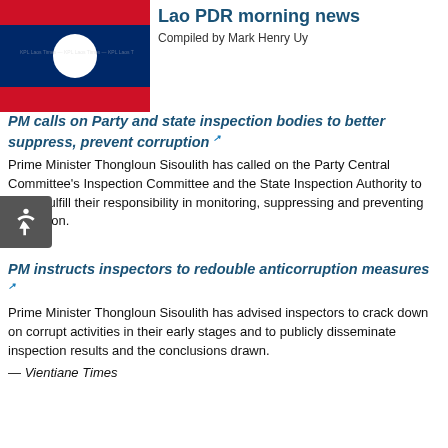[Figure (photo): Lao PDR flag image with red and blue stripes and white circle in center]
Lao PDR morning news
Compiled by Mark Henry Uy
PM calls on Party and state inspection bodies to better suppress, prevent corruption
Prime Minister Thongloun Sisoulith has called on the Party Central Committee's Inspection Committee and the State Inspection Authority to better fulfill their responsibility in monitoring, suppressing and preventing corruption.
— KPL
PM instructs inspectors to redouble anticorruption measures
Prime Minister Thongloun Sisoulith has advised inspectors to crack down on corrupt activities in their early stages and to publicly disseminate inspection results and the conclusions drawn.
— Vientiane Times